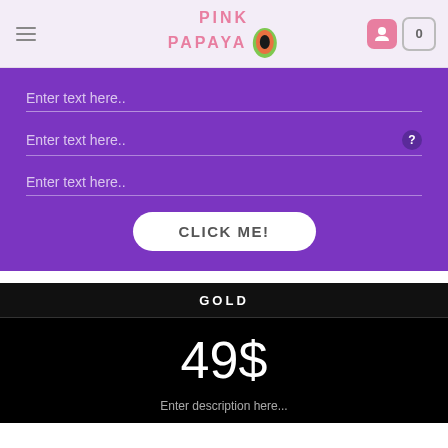Pink Papaya - website header with hamburger menu, logo, user icon, and cart (0)
[Figure (screenshot): Purple form section with three 'Enter text here..' input fields, a help (?) icon next to the second, and a white CLICK ME! button]
| GOLD |
| --- |
| 49$ |
| Enter description here... |
Enter description here...